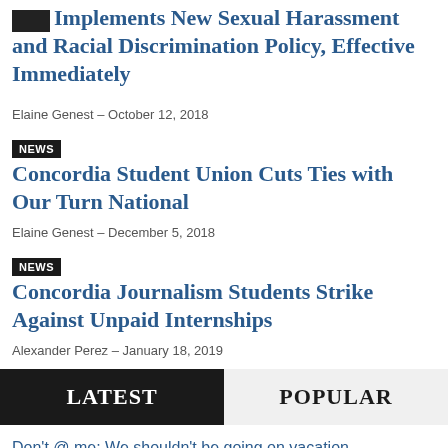HSIT Implements New Sexual Harassment and Racial Discrimination Policy, Effective Immediately
Elaine Genest – October 12, 2018
Concordia Student Union Cuts Ties with Our Turn National
Elaine Genest – December 5, 2018
Concordia Journalism Students Strike Against Unpaid Internships
Alexander Perez – January 18, 2019
LATEST
POPULAR
Don't @ me: We shouldn't be going on vacation
Opinions – 08/19/22
Urban Planning Students to Strike for Fall Reading Week
News – 08/16/22